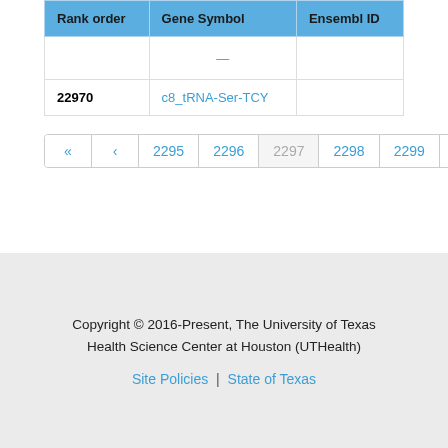| Rank order | Gene Symbol | Ensembl ID |
| --- | --- | --- |
|  | — |  |
| 22970 | c8_tRNA-Ser-TCY |  |
« ‹ 2295 2296 2297 2298 2299 › »
Copyright © 2016-Present, The University of Texas Health Science Center at Houston (UTHealth)
Site Policies | State of Texas